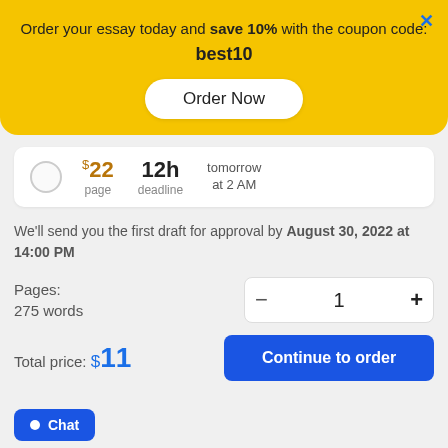Order your essay today and save 10% with the coupon code: best10
Order Now
$22 page 12h deadline tomorrow at 2 AM
We'll send you the first draft for approval by August 30, 2022 at 14:00 PM
Pages:
275 words
− 1 +
Total price: $11
Continue to order
Chat